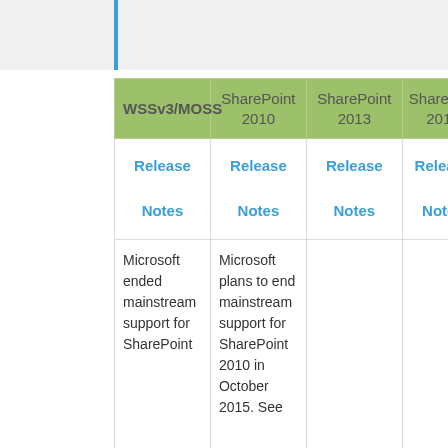| WSSv3/MOSS | SharePoint 2010 | SharePoint 2013 | SharePoint 2016 |
| --- | --- | --- | --- |
| Release Notes | Release Notes | Release Notes | Release Notes |
| Microsoft ended mainstream support for SharePoint | Microsoft plans to end mainstream support for SharePoint 2010 in October 2015. See |  |  |